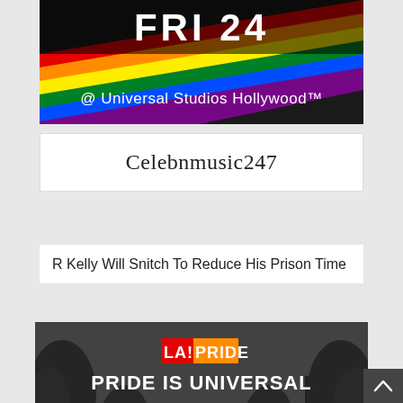[Figure (photo): LA Pride banner showing 'FRI 24 @ Universal Studios Hollywood™' with rainbow stripes at top of page (cropped)]
Celebnmusic247
R Kelly Will Snitch To Reduce His Prison Time
[Figure (photo): LA Pride promotional image in black and white showing Universal Studios Hollywood gate with rainbow stripe overlay and text: LA! PRIDE, PRIDE IS UNIVERSAL, FRI JUN 24, @ Universal Studios Hollywood™]